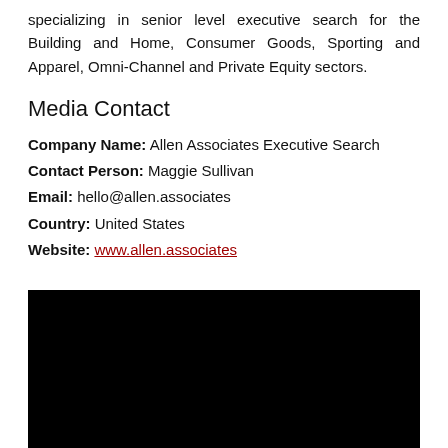specializing in senior level executive search for the Building and Home, Consumer Goods, Sporting and Apparel, Omni-Channel and Private Equity sectors.
Media Contact
Company Name: Allen Associates Executive Search
Contact Person: Maggie Sullivan
Email: hello@allen.associates
Country: United States
Website: www.allen.associates
[Figure (photo): Black rectangle image placeholder]